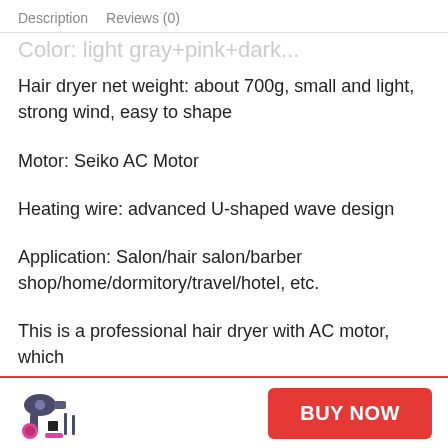Description   Reviews (0)
Color: light gray+pink+dark
Hair dryer net weight: about 700g, small and light, strong wind, easy to shape
Motor: Seiko AC Motor
Heating wire: advanced U-shaped wave design
Application: Salon/hair salon/barber shop/home/dormitory/travel/hotel, etc.
This is a professional hair dryer with AC motor, which
[Figure (photo): Product thumbnail image of a hair dryer set with accessories in dark/pink colors]
BUY NOW